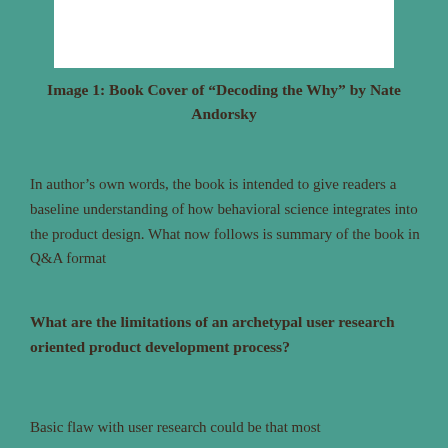[Figure (photo): White rectangle representing a book cover image placeholder at the top of the page]
Image 1: Book Cover of “Decoding the Why” by Nate Andorsky
In author’s own words, the book is intended to give readers a baseline understanding of how behavioral science integrates into the product design. What now follows is summary of the book in Q&A format
What are the limitations of an archetypal user research oriented product development process?
Basic flaw with user research could be that most